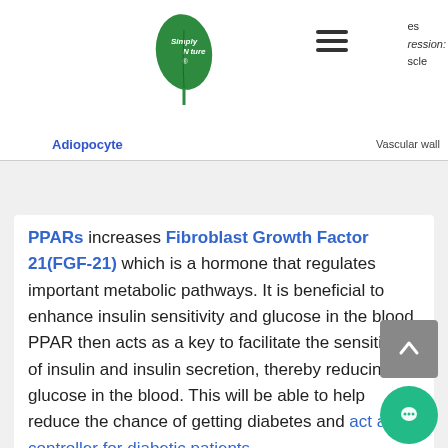[Figure (logo): Simply Nature green leaf logo with text 'Simply Nature']
Adiopocyte
Vascular wall
PPARs increases Fibroblast Growth Factor 21(FGF-21) which is a hormone that regulates important metabolic pathways. It is beneficial to enhance insulin sensitivity and glucose in the blood. PPAR then acts as a key to facilitate the sensitivity of insulin and insulin secretion, thereby reducing the glucose in the blood. This will be able to help reduce the chance of getting diabetes and act as a controller for diabetic patients.